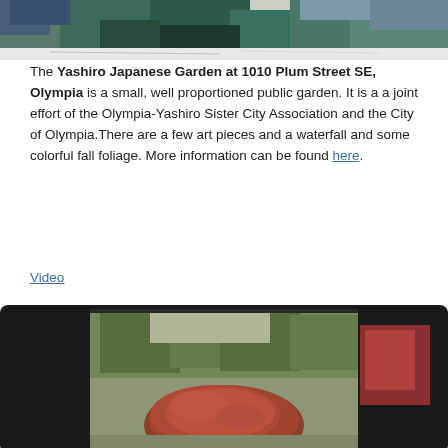[Figure (photo): Top portion of a photo showing a Japanese garden scene with dark greenery and blue tones, partially cropped at top]
The Yashiro Japanese Garden at 1010 Plum Street SE, Olympia is a small, well proportioned public garden. It is a a joint effort of the Olympia-Yashiro Sister City Association and the City of Olympia.There are a few art pieces and a waterfall and some colorful fall foliage. More information can be found here.
Video
[Figure (screenshot): Video player screenshot showing a Japanese garden with a large red-orange stone sculpture or rock formation in the foreground, green trees in background, displayed in a dark-bordered video player frame]